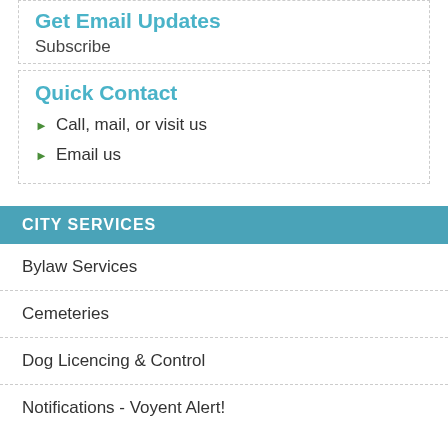Get Email Updates
Subscribe
Quick Contact
Call, mail, or visit us
Email us
CITY SERVICES
Bylaw Services
Cemeteries
Dog Licencing & Control
Notifications - Voyent Alert!